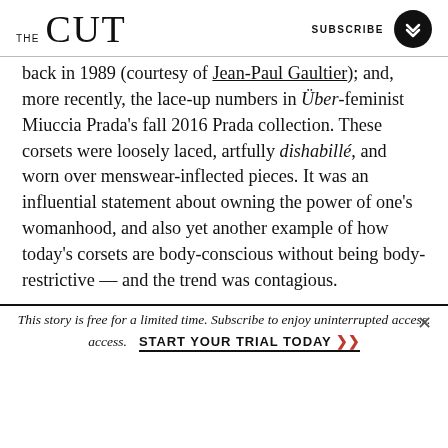THE CUT | SUBSCRIBE
back in 1989 (courtesy of Jean-Paul Gaultier); and, more recently, the lace-up numbers in Über-feminist Miuccia Prada's fall 2016 Prada collection. These corsets were loosely laced, artfully dishabillé, and worn over menswear-inflected pieces. It was an influential statement about owning the power of one's womanhood, and also yet another example of how today's corsets are body-conscious without being body-restrictive — and the trend was contagious.
This story is free for a limited time. Subscribe to enjoy uninterrupted access.
START YOUR TRIAL TODAY